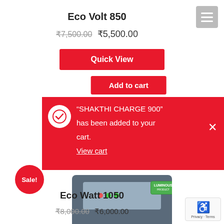Eco Volt 850
₹7,500.00  ₹5,500.00
Quick View
Add to cart
“SHAKTHI CHARGE 900” has been added to your cart. View cart
Sale!
[Figure (photo): Luminous inverter device (Eco Volt 850) with blue-grey casing, display screen, indicator lights, and Luminous product badge]
Eco Watt 1050
₹8,000.00  ₹6,000.00